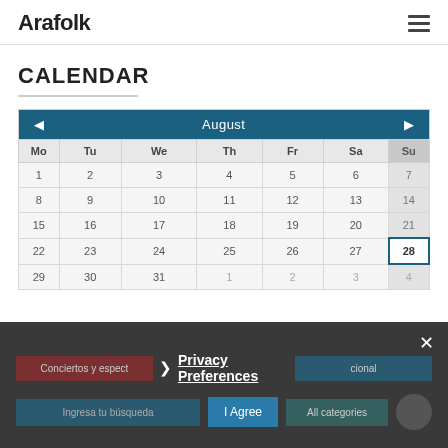Arafolk
CALENDAR
| Mo | Tu | We | Th | Fr | Sa | Su |
| --- | --- | --- | --- | --- | --- | --- |
| 1 | 2 | 3 | 4 | 5 | 6 | 7 |
| 8 | 9 | 10 | 11 | 12 | 13 | 14 |
| 15 | 16 | 17 | 18 | 19 | 20 | 21 |
| 22 | 23 | 24 | 25 | 26 | 27 | 28 |
| 29 | 30 | 31 | 1 | 2 | 3 | 4 |
Privacy Preferences
Conciertos y espectáculos tradicional
I Agree
All categories